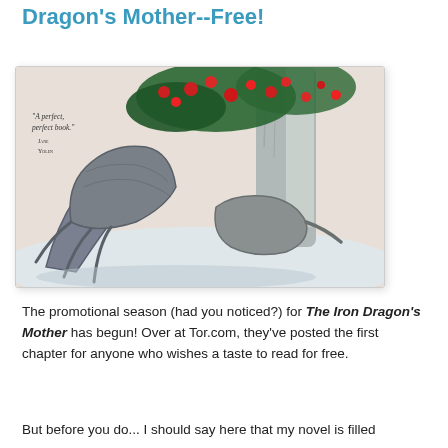Dragon's Mother--Free!
[Figure (illustration): Book cover illustration for 'The Iron Dragon's Mother' showing armored dragon claws/feet near a tree with red flowers and green leaves. Quote text reads: 'A perfect, perfect book.' Jane Yolen]
The promotional season (had you noticed?) for The Iron Dragon's Mother has begun! Over at Tor.com, they've posted the first chapter for anyone who wishes a taste to read for free.
But before you do... I should say here that my novel is filled